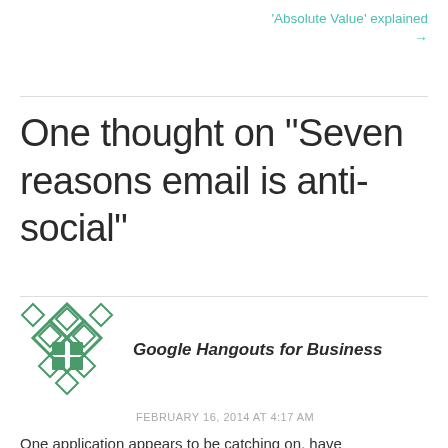'Absolute Value' explained
→
One thought on “Seven reasons email is anti-social”
[Figure (logo): Google Hangouts for Business logo — a diamond/rhombus grid pattern in green and white]
Google Hangouts for Business
FEBRUARY 16, 2014 AT 4:17 AM
One application appears to be catching on, have